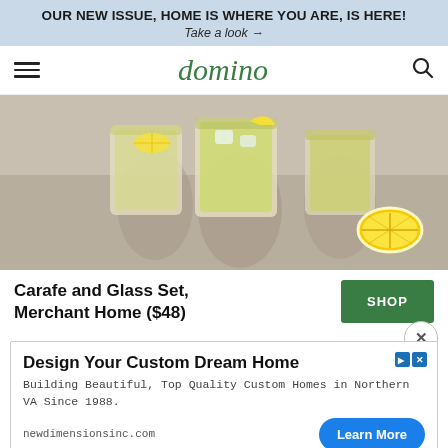OUR NEW ISSUE, HOME IS WHERE YOU ARE, IS HERE! Take a look →
domino
[Figure (photo): Three glasses of lemonade with ice and lemon slices on a grey stone surface in sunlight, with a lemon half beside them.]
Carafe and Glass Set, Merchant Home ($48)
SHOP
Design Your Custom Dream Home
Building Beautiful, Top Quality Custom Homes in Northern VA Since 1988.
newdimensionsinc.com
Learn More